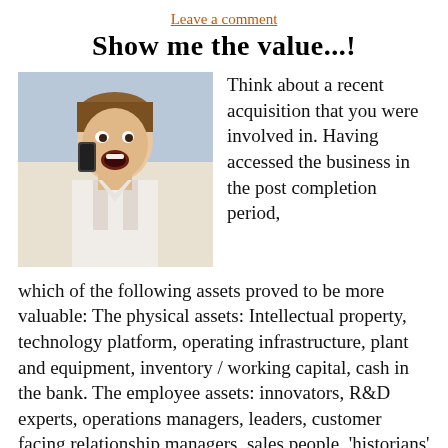Leave a comment
Show me the value...!
[Figure (photo): A man yelling while talking on a phone, movie still (Jerry Maguire reference)]
Think about a recent acquisition that you were involved in. Having accessed the business in the post completion period, which of the following assets proved to be more valuable: The physical assets: Intellectual property, technology platform, operating infrastructure, plant and equipment, inventory / working capital, cash in the bank. The employee assets: innovators, R&D experts, operations managers, leaders, customer facing relationship managers, sales people, 'historians' (those who